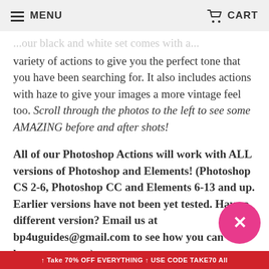MENU  CART
...our black and white set comes with a variety of actions to give you the perfect tone that you have been searching for. It also includes actions with haze to give your images a more vintage feel too. Scroll through the photos to the left to see some AMAZING before and after shots!
All of our Photoshop Actions will work with ALL versions of Photoshop and Elements! (Photoshop CS 2-6, Photoshop CC and Elements 6-13 and up. Earlier versions have not been yet tested. Have a different version? Email us at bp4uguides@gmail.com to see how you can become a tester.)
↑ Take 70% OFF EVERYTHING ↑ USE CODE TAKE70 All